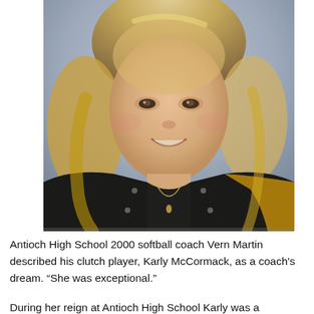[Figure (photo): Portrait photo of Karly McCormack, a young woman with blonde wavy hair, smiling, wearing a dark jacket with gold accents (letterman jacket style). The photo appears to be a school yearbook-style portrait.]
Antioch High School 2000 softball coach Vern Martin described his clutch player, Karly McCormack, as a coach's dream. "She was exceptional."
During her reign at Antioch High School Karly was a